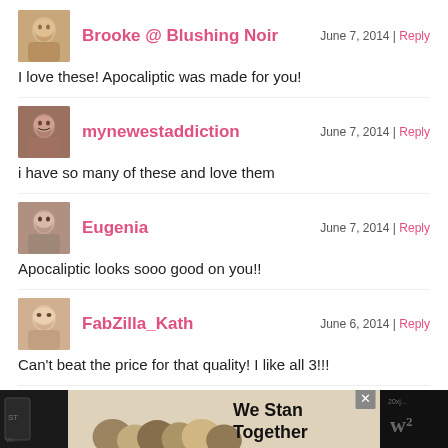Brooke @ Blushing Noir — June 7, 2014 | Reply
I love these! Apocaliptic was made for you!
mynewestaddiction — June 7, 2014 | Reply
i have so many of these and love them
Eugenia — June 7, 2014 | Reply
Apocaliptic looks sooo good on you!!
FabZilla_Kath — June 6, 2014 | Reply
Can't beat the price for that quality! I like all 3!!!
Betzy Carmona — June 6, 2014 | Reply
I have one and really do like it a lot
[Figure (screenshot): Advertisement banner at bottom: dark background with group photo, text 'We Stand Together', close button, and logo on right]